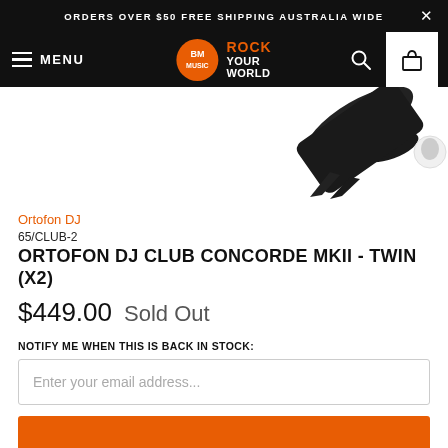ORDERS OVER $50 FREE SHIPPING AUSTRALIA WIDE
[Figure (screenshot): Navigation bar with menu icon, BM Rock Your World logo, search and cart icons]
[Figure (photo): Ortofon DJ Club Concorde MKII cartridge product photo on white background]
Ortofon DJ
65/CLUB-2
ORTOFON DJ CLUB CONCORDE MKII - TWIN (X2)
$449.00  Sold Out
NOTIFY ME WHEN THIS IS BACK IN STOCK:
Enter your email address...